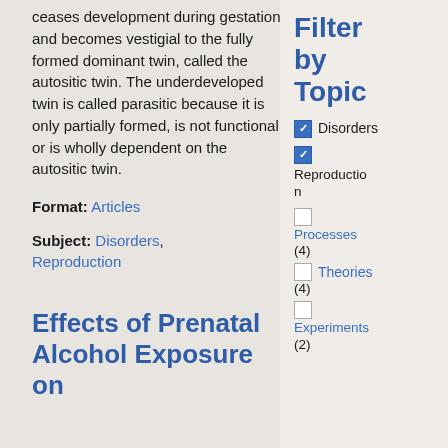ceases development during gestation and becomes vestigial to the fully formed dominant twin, called the autositic twin. The underdeveloped twin is called parasitic because it is only partially formed, is not functional, or is wholly dependent on the autositic twin.
Format: Articles
Subject: Disorders, Reproduction
Effects of Prenatal Alcohol Exposure on
Filter by Topic
Disorders (checked)
Reproduction (checked)
Processes (4) (unchecked)
Theories (4) (unchecked)
Experiments (unchecked)